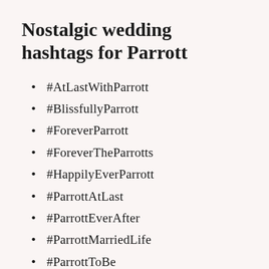Nostalgic wedding hashtags for Parrott
#AtLastWithParrott
#BlissfullyParrott
#ForeverParrott
#ForeverTheParrotts
#HappilyEverParrott
#ParrottAtLast
#ParrottEverAfter
#ParrottMarriedLife
#ParrottToBe
#ParrottUnited
#JustMarriedParrott
#MarriedToParrott